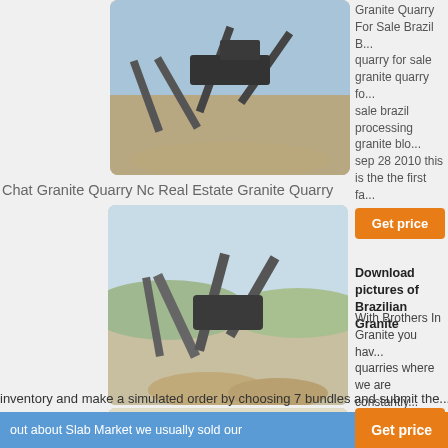[Figure (photo): Quarry machinery and conveyor belts at a granite quarry, desert landscape, top image]
Granite Quarry For Sale Brazil B... quarry for sale granite quarry fo... sale brazil processing granite blo... sep 28 2010 this is the the first fa...
Chat Granite Quarry Nc Real Estate Granite Quarry
[Figure (photo): Quarry with heavy machinery, conveyors, and stockpiles of stone material, middle image]
Get price
Download pictures of Brazilian Granite
With Brothers In Granite you hav... quarries where we are constantly... marble and quartzite here in Bra...
inventory and make a simulated order by choosing 7 bundles and submit the...
[Figure (photo): Another view of quarry machinery with large industrial structures and dusty surroundings, bottom image]
Get price
SlabMarket
Roberto Vieira is the CEO of BS... manufacturer and exporter Below... interview with him Slab Market R... background information on your ...
company BSE is a medium-sized manufacturer and exporter of natural stone...
out about Slab Market we usually sold our
Get price